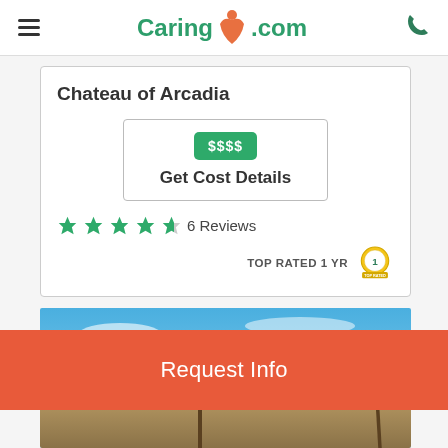Caring.com
Chateau of Arcadia
$$$$  Get Cost Details
6 Reviews
TOP RATED 1 YR
[Figure (photo): Exterior photo of Chateau of Arcadia building with blue sky and palm trees]
Request Info